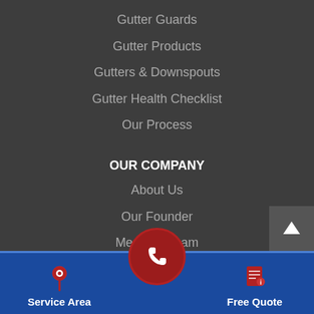Gutter Guards
Gutter Products
Gutters & Downspouts
Gutter Health Checklist
Our Process
OUR COMPANY
About Us
Our Founder
Meet the Team
Our Warranties
[Figure (infographic): Bottom navigation bar with phone call button (red circle), Service Area (map pin icon), and Free Quote (document icon) on blue background.]